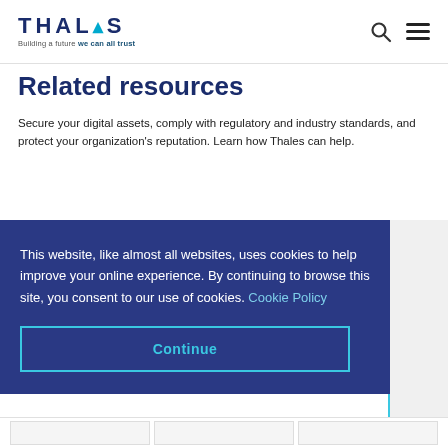THALES — Building a future we can all trust
Related resources
Secure your digital assets, comply with regulatory and industry standards, and protect your organization's reputation. Learn how Thales can help.
This website, like almost all websites, uses cookies to help improve your online experience. By continuing to browse this site, you consent to our use of cookies. Cookie Policy
Continue